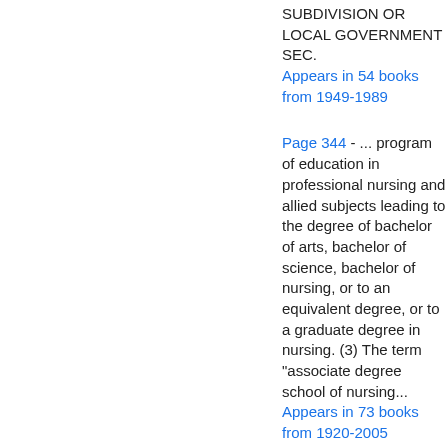SUBDIVISION OR LOCAL GOVERNMENT SEC.
Appears in 54 books from 1949-1989
Page 344 - ... program of education in professional nursing and allied subjects leading to the degree of bachelor of arts, bachelor of science, bachelor of nursing, or to an equivalent degree, or to a graduate degree in nursing. (3) The term "associate degree school of nursing...
Appears in 73 books from 1920-2005
Page 447 - I do solemnly swear (or affirm) that I